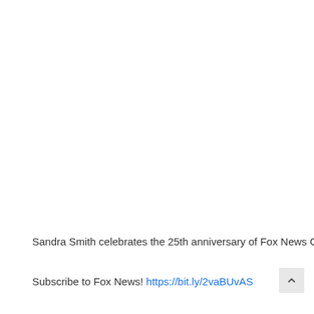Sandra Smith celebrates the 25th anniversary of Fox News C
Subscribe to Fox News! https://bit.ly/2vaBUvAS